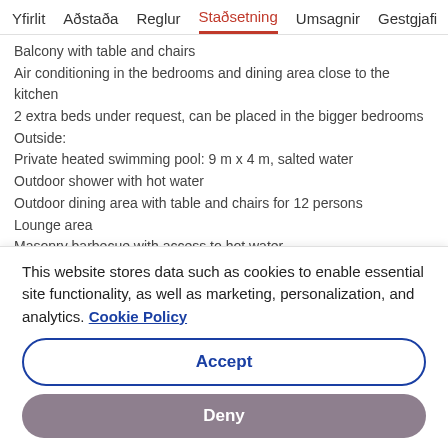Yfirlit  Aðstaða  Reglur  Staðsetning  Umsagnir  Gestgjafi
Balcony with table and chairs
Air conditioning in the bedrooms and dining area close to the kitchen
2 extra beds under request, can be placed in the bigger bedrooms
Outside:
Private heated swimming pool: 9 m x 4 m, salted water
Outdoor shower with hot water
Outdoor dining area with table and chairs for 12 persons
Lounge area
Masonry barbecue with access to hot water
10 sunbeds and a lounge area with Puffs
Basketball hoop
This website stores data such as cookies to enable essential site functionality, as well as marketing, personalization, and analytics. Cookie Policy
Accept
Deny